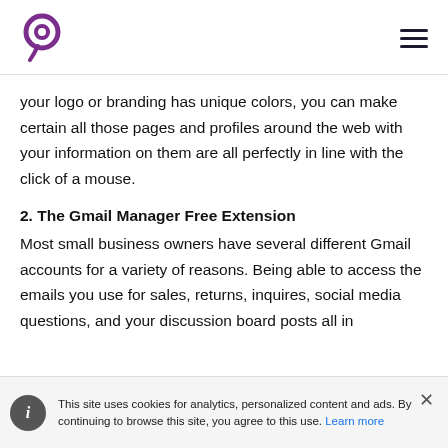[Logo] [hamburger menu]
your logo or branding has unique colors, you can make certain all those pages and profiles around the web with your information on them are all perfectly in line with the click of a mouse.
2. The Gmail Manager Free Extension
Most small business owners have several different Gmail accounts for a variety of reasons. Being able to access the emails you use for sales, returns, inquires, social media questions, and your discussion board posts all in
This site uses cookies for analytics, personalized content and ads. By continuing to browse this site, you agree to this use. Learn more